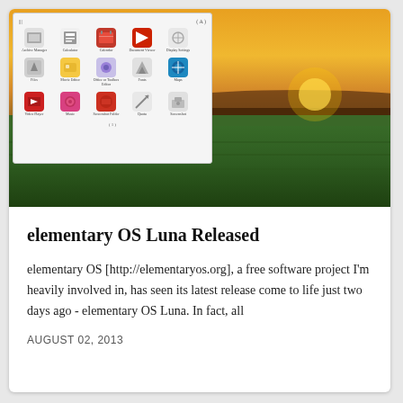[Figure (screenshot): Screenshot of elementary OS app grid overlaid on a wheat field at sunset landscape photo. The app grid shows rows of application icons on a light gray/white background.]
elementary OS Luna Released
elementary OS [http://elementaryos.org], a free software project I'm heavily involved in, has seen its latest release come to life just two days ago - elementary OS Luna. In fact, all
AUGUST 02, 2013